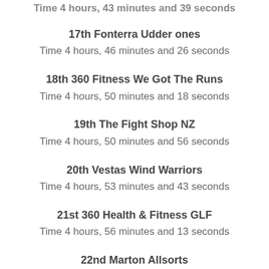Time 4 hours, 43 minutes and 39 seconds
17th Fonterra Udder ones
Time 4 hours, 46 minutes and 26 seconds
18th 360 Fitness We Got The Runs
Time 4 hours, 50 minutes and 18 seconds
19th The Fight Shop NZ
Time 4 hours, 50 minutes and 56 seconds
20th Vestas Wind Warriors
Time 4 hours, 53 minutes and 43 seconds
21st 360 Health & Fitness GLF
Time 4 hours, 56 minutes and 13 seconds
22nd Marton Allsorts
Time 4 hours, 56 minutes and 20 seconds